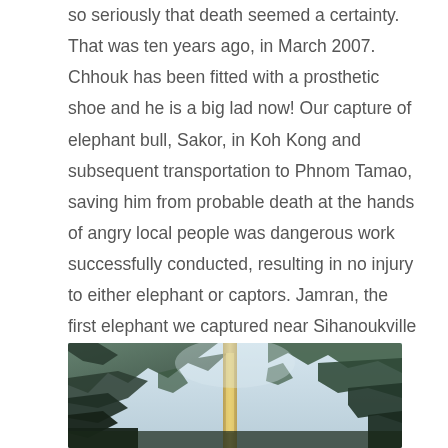so seriously that death seemed a certainty. That was ten years ago, in March 2007. Chhouk has been fitted with a prosthetic shoe and he is a big lad now! Our capture of elephant bull, Sakor, in Koh Kong and subsequent transportation to Phnom Tamao, saving him from probable death at the hands of angry local people was dangerous work successfully conducted, resulting in no injury to either elephant or captors. Jamran, the first elephant we captured near Sihanoukville in 2003, was very similar.

But sometimes one wonders....
[Figure (photo): Outdoor photograph showing trees and what appears to be an elephant or figure among forest vegetation, taken in a forested area.]